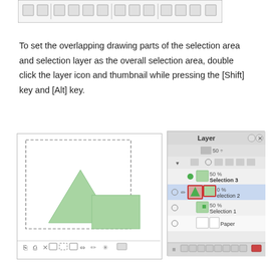[Figure (screenshot): Toolbar strip at top of page showing software tool icons]
To set the overlapping drawing parts of the selection area and selection layer as the overall selection area, double click the layer icon and thumbnail while pressing the [Shift] key and [Alt] key.
[Figure (screenshot): Canvas panel showing a green triangle shape and a green rectangle with dashed selection marquee, plus toolbar at bottom]
[Figure (screenshot): Layer panel showing Layer window with Selection 3 (50%), Selection 2 (0%) highlighted with red border, Selection 1 (50%), and Paper layers]